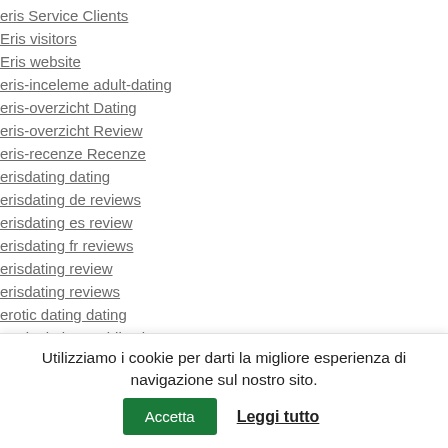eris Service Clients
Eris visitors
Eris website
eris-inceleme adult-dating
eris-overzicht Dating
eris-overzicht Review
eris-recenze Recenze
erisdating dating
erisdating de reviews
erisdating es review
erisdating fr reviews
erisdating review
erisdating reviews
erotic dating dating
erotic dating mobile site
erotic dating review (partial)
Utilizziamo i cookie per darti la migliore esperienza di navigazione sul nostro sito.
Accetta
Leggi tutto